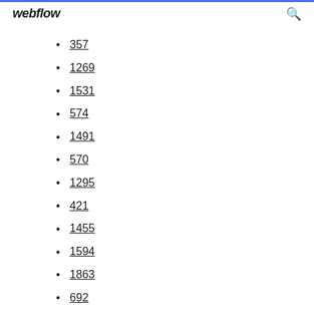webflow
357
1269
1531
574
1491
570
1295
421
1455
1594
1863
692